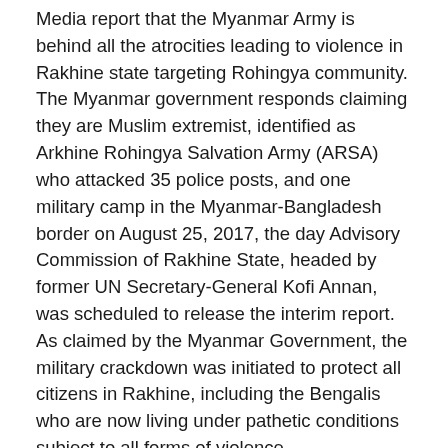Media report that the Myanmar Army is behind all the atrocities leading to violence in Rakhine state targeting Rohingya community. The Myanmar government responds claiming they are Muslim extremist, identified as Arkhine Rohingya Salvation Army (ARSA) who attacked 35 police posts, and one military camp in the Myanmar-Bangladesh border on August 25, 2017, the day Advisory Commission of Rakhine State, headed by former UN Secretary-General Kofi Annan, was scheduled to release the interim report. As claimed by the Myanmar Government, the military crackdown was initiated to protect all citizens in Rakhine, including the Bengalis who are now living under pathetic conditions subject to all forms of violence.
Media and lobby groups are blaming Myanmar State Counsellor Aung Sang Suu Kyi for not taking steps to prevent a textbook 'ethnic cleansing'. Blame and criticism are two sets of functions; usually, take cognizance to dramatize issues to make stories newsworthy to attract attention to win public sympathy. But, policymakers need